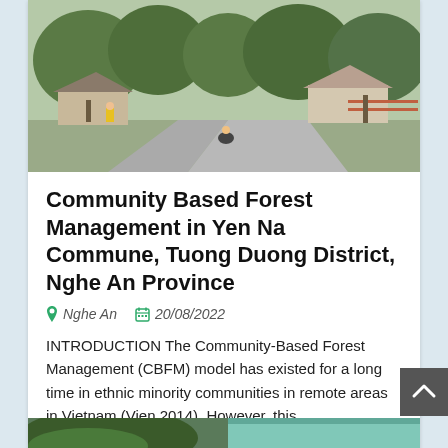[Figure (photo): A rural village road in Vietnam with houses, trees, and a person on a motorbike in the background.]
Community Based Forest Management in Yen Na Commune, Tuong Duong District, Nghe An Province
Nghe An   20/08/2022
INTRODUCTION The Community-Based Forest Management (CBFM) model has existed for a long time in ethnic minority communities in remote areas in Vietnam (Vien 2014). However, this...
Read more
[Figure (photo): Partial view of a building with a green roof and trees in the foreground.]